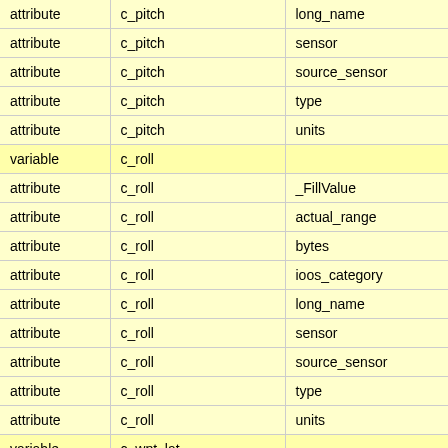|  |  |  |
| --- | --- | --- |
| attribute | c_pitch | long_name |
| attribute | c_pitch | sensor |
| attribute | c_pitch | source_sensor |
| attribute | c_pitch | type |
| attribute | c_pitch | units |
| variable | c_roll |  |
| attribute | c_roll | _FillValue |
| attribute | c_roll | actual_range |
| attribute | c_roll | bytes |
| attribute | c_roll | ioos_category |
| attribute | c_roll | long_name |
| attribute | c_roll | sensor |
| attribute | c_roll | source_sensor |
| attribute | c_roll | type |
| attribute | c_roll | units |
| variable | c_wpt_lat |  |
| attribute | c_wpt_lat | _FillValue |
| attribute | c_wpt_lat | actual_range |
| attribute | c_wpt_lat | bytes |
| attribute | c_wpt_lat | ioos_category |